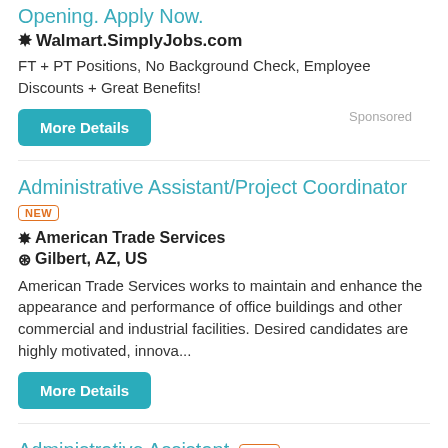Opening. Apply Now.
❋ Walmart.SimplyJobs.com
FT + PT Positions, No Background Check, Employee Discounts + Great Benefits!
More Details
Sponsored
Administrative Assistant/Project Coordinator
NEW
❋ American Trade Services
⊙ Gilbert, AZ, US
American Trade Services works to maintain and enhance the appearance and performance of office buildings and other commercial and industrial facilities. Desired candidates are highly motivated, innova...
More Details
Administrative Assistant NEW